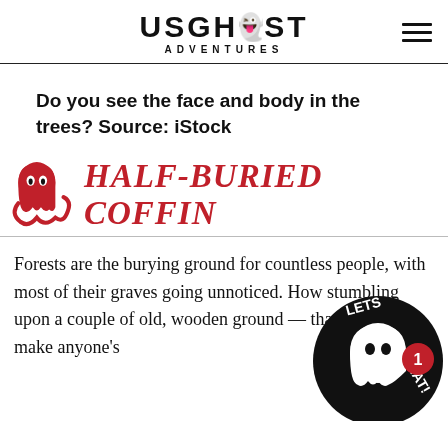US GHOST ADVENTURES
Do you see the face and body in the trees? Source: iStock
HALF-BURIED COFFIN
Forests are the burying ground for countless people, with most of their graves going unnoticed. How stumbling upon a couple of old, wooden ground — that's enough to make anyone's